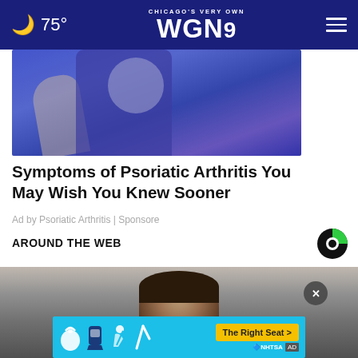Chicago's Very Own WGN9 — 75°
[Figure (photo): Partial view of a person in a blue outfit, cropped article thumbnail image]
Symptoms of Psoriatic Arthritis You May Wish You Knew Sooner
Ad by Psoriatic Arthritis | Sponsore
AROUND THE WEB
[Figure (logo): Taboola logo — circular icon with dark and green segments]
[Figure (photo): Man's face partially visible, dark hair, blurred background]
[Figure (infographic): NHTSA The Right Seat advertisement banner with car seat safety icons on a light blue background]